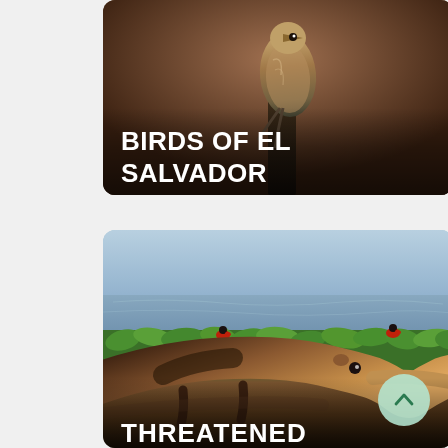[Figure (photo): Card with a photo of a bird (kingfisher type) perched on a post, with a dark brownish background. Overlaid text reads BIRDS OF EL SALVADOR in white uppercase bold.]
[Figure (photo): Card with a photo of a giant anteater walking through green water hyacinth vegetation near a blue-grey body of water. Small red-and-black birds visible in the vegetation. Overlaid text at bottom reads THREATENED in white uppercase bold (partially visible).]